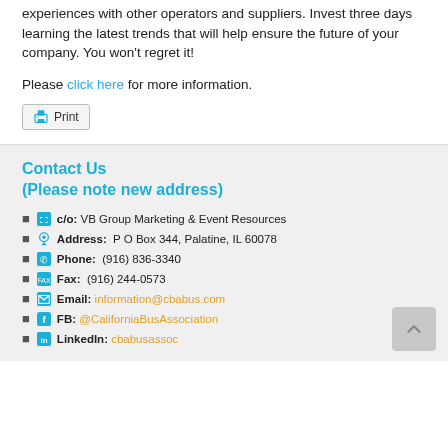experiences with other operators and suppliers. Invest three days learning the latest trends that will help ensure the future of your company. You won't regret it!
Please click here for more information.
Contact Us
(Please note new address)
c/o: VB Group Marketing & Event Resources
Address: P O Box 344, Palatine, IL 60078
Phone: (916) 836-3340
Fax: (916) 244-0573
Email: information@cbabus.com
FB: @CaliforniaBusAssociation
LinkedIn: cbabusassoc